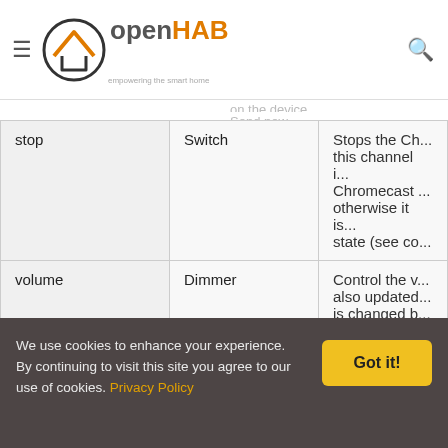openHAB — empowering the smart home
| Channel | Type | Description |
| --- | --- | --- |
| stop | Switch | Stops the Ch... this channel i... Chromecast ... otherwise it is... state (see co... |
| volume | Dimmer | Control the v... also updated... is changed b... |
| mute | Switch | Mute the aud... |
| playuri | String | Can be used... Chromecast ... from a given... |
| N... | Stri... | Name of curr... |
We use cookies to enhance your experience. By continuing to visit this site you agree to our use of cookies. Privacy Policy